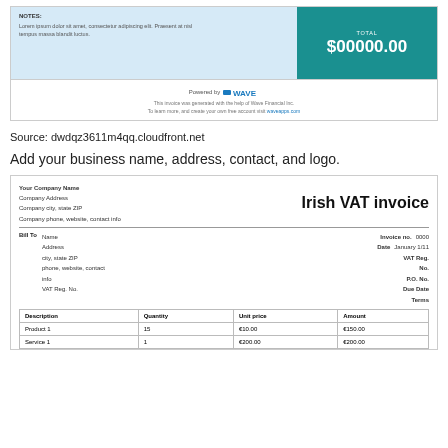NOTES:
Lorem ipsum dolor sit amet, consectetur adipiscing elit. Praesent at nisl tempus massa blandit luctus.
TOTAL $00000.00
Powered by WAVE
This invoice was generated with the help of Wave Financial Inc. To learn more, and create your own free account visit waveapps.com
Source: dwdqz3611m4qq.cloudfront.net
Add your business name, address, contact, and logo.
Your Company Name
Company Address
Company city, state ZIP
Company phone, website, contact info
Irish VAT invoice
Bill To  Name
Address
city, state ZIP
phone, website, contact info
VAT Reg. No.

Invoice no. 0000
Date January 1/11
VAT Reg. No.
P.O. No.
Due Date
Terms
| Description | Quantity | Unit price | Amount |
| --- | --- | --- | --- |
| Product 1 | 15 | €10.00 | €150.00 |
| Service 1 | 1 | €200.00 | €200.00 |